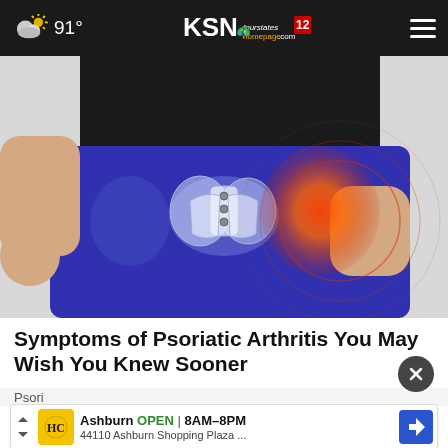91° KSN fourstates homepage .com 12
[Figure (photo): Medical illustration of person wearing blue pants with hand on hip, showing X-ray/skeletal overlay of pelvis with red highlighted inflammation area on right hip joint and concentric circle pain indicator]
Symptoms of Psoriatic Arthritis You May Wish You Knew Sooner
Psori...
[Figure (infographic): Advertisement banner: HC logo in yellow square, Ashburn OPEN 8AM-8PM, 44110 Ashburn Shopping Plaza ..., blue navigation arrow icon on right]